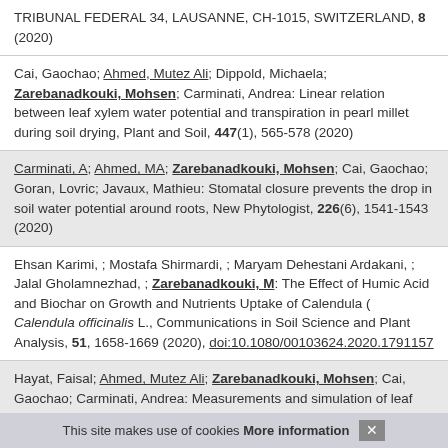TRIBUNAL FEDERAL 34, LAUSANNE, CH-1015, SWITZERLAND, 8 (2020)
Cai, Gaochao; Ahmed, Mutez Ali; Dippold, Michaela; Zarebanadkouki, Mohsen; Carminati, Andrea: Linear relation between leaf xylem water potential and transpiration in pearl millet during soil drying, Plant and Soil, 447(1), 565-578 (2020)
Carminati, A; Ahmed, MA; Zarebanadkouki, Mohsen; Cai, Gaochao; Goran, Lovric; Javaux, Mathieu: Stomatal closure prevents the drop in soil water potential around roots, New Phytologist, 226(6), 1541-1543 (2020)
Ehsan Karimi, ; Mostafa Shirmardi, ; Maryam Dehestani Ardakani, ; Jalal Gholamnezhad, ; Zarebanadkouki, M: The Effect of Humic Acid and Biochar on Growth and Nutrients Uptake of Calendula ( Calendula officinalis L., Communications in Soil Science and Plant Analysis, 51, 1658-1669 (2020), doi:10.1080/00103624.2020.1791157
Hayat, Faisal; Ahmed, Mutez Ali; Zarebanadkouki, Mohsen; Cai, Gaochao; Carminati, Andrea: Measurements and simulation of leaf xylem water potential and root water uptake in heterogeneous soil water contents (vol 124, pg 96, 2019, Advances in Water Resources, 138 (2020)
This site makes use of cookies More information